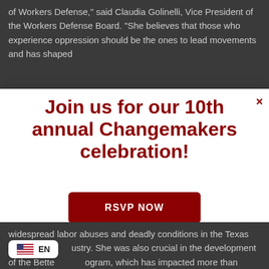of Workers Defense," said Claudia Golinelli, Vice President of the Workers Defense Board. "She believes that those who experience oppression should be the ones to lead movements and has shaped
Join us for our 10th annual Changemakers celebration!
RSVP NOW
widespread labor abuses and deadly conditions in the Texas construction industry. She was also crucial in the development of the Better... program, which has impacted more than 20,000
EN